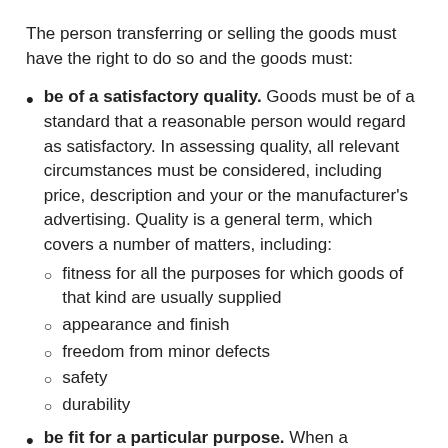The person transferring or selling the goods must have the right to do so and the goods must:
be of a satisfactory quality. Goods must be of a standard that a reasonable person would regard as satisfactory. In assessing quality, all relevant circumstances must be considered, including price, description and your or the manufacturer's advertising. Quality is a general term, which covers a number of matters, including:
fitness for all the purposes for which goods of that kind are usually supplied
appearance and finish
freedom from minor defects
safety
durability
be fit for a particular purpose. When a consumer indicates that goods are required for